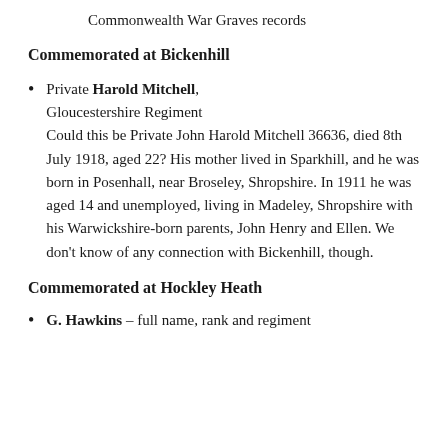Commonwealth War Graves records
Commemorated at Bickenhill
Private Harold Mitchell, Gloucestershire Regiment Could this be Private John Harold Mitchell 36636, died 8th July 1918, aged 22? His mother lived in Sparkhill, and he was born in Posenhall, near Broseley, Shropshire. In 1911 he was aged 14 and unemployed, living in Madeley, Shropshire with his Warwickshire-born parents, John Henry and Ellen. We don't know of any connection with Bickenhill, though.
Commemorated at Hockley Heath
G. Hawkins – full name, rank and regiment